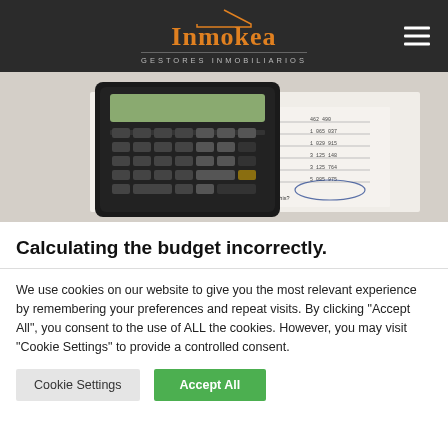Inmokea GESTORES INMOBILIARIOS
[Figure (photo): A calculator resting on paper documents with handwritten financial calculations and numbers]
Calculating the budget incorrectly.
We use cookies on our website to give you the most relevant experience by remembering your preferences and repeat visits. By clicking "Accept All", you consent to the use of ALL the cookies. However, you may visit "Cookie Settings" to provide a controlled consent.
Cookie Settings | Accept All